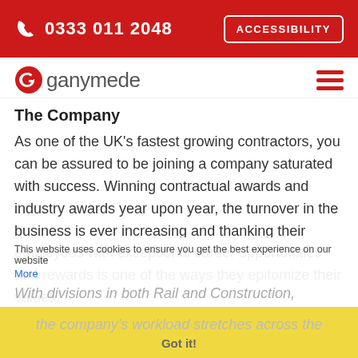0333 011 2048  ACCESSIBILITY
[Figure (logo): Ganymede logo with red G icon and grey 'ganymede' wordmark]
The Company
As one of the UK's fastest growing contractors, you can be assured to be joining a company saturated with success. Winning contractual awards and industry awards year upon year, the turnover in the business is ever increasing and thanking their employees with exceptional career opportunities and rewards is one of the ways they epitomize their values.
With divisions in both Rail and Construction, the company's workload stretches across the
This website uses cookies to ensure you get the best experience on our website More
Got it!